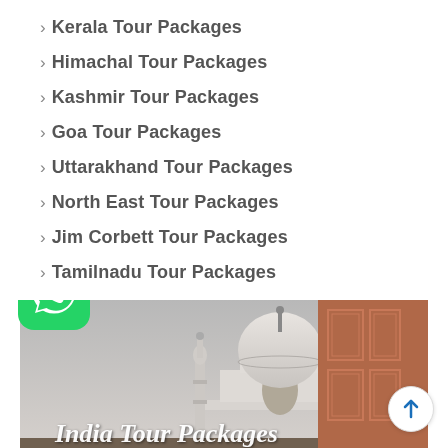> Kerala Tour Packages
> Himachal Tour Packages
> Kashmir Tour Packages
> Goa Tour Packages
> Uttarakhand Tour Packages
> North East Tour Packages
> Jim Corbett Tour Packages
> Tamilnadu Tour Packages
> Maharashtra Tour Packages
[Figure (photo): Taj Mahal dome and minaret with red sandstone gate on right, with 'India Tour Packages' text overlay and WhatsApp icon button in foreground]